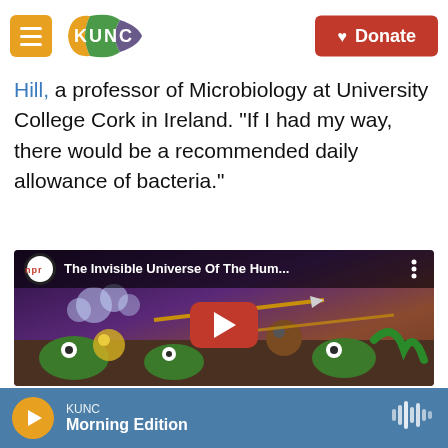KUNC | Donate
Hill, a professor of Microbiology at University College Cork in Ireland. "If I had my way, there would be a recommended daily allowance of bacteria."
[Figure (screenshot): YouTube video embed showing NPR video titled 'The Invisible Universe Of The Hum...' with animated cartoon imagery of microorganism characters and a red play button in the center.]
KUNC | Morning Edition